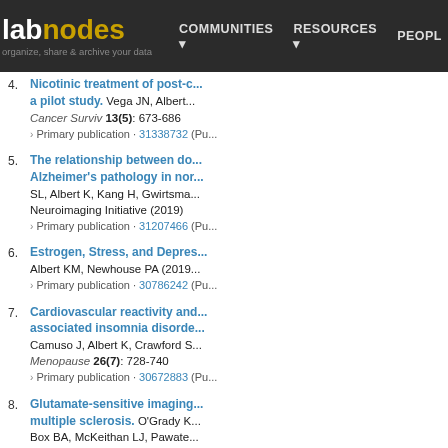labnodes | COMMUNITIES | RESOURCES | PEOPLE
4. Nicotinic treatment of post-c... a pilot study. Vega JN, Albert... Cancer Surviv 13(5): 673-686 › Primary publication · 31338732 (Pu...
5. The relationship between do... Alzheimer's pathology in nor... SL, Albert K, Kang H, Gwirtsma... Neuroimaging Initiative (2019) › Primary publication · 31207466 (Pu...
6. Estrogen, Stress, and Depres... Albert KM, Newhouse PA (2019... › Primary publication · 30786242 (Pu...
7. Cardiovascular reactivity and... associated insomnia disorde... Camuso J, Albert K, Crawford S... Menopause 26(7): 728-740 › Primary publication · 30672883 (Pu...
8. Glutamate-sensitive imaging... multiple sclerosis. O'Grady K... Box BA, McKeithan LJ, Pawate... SA (2019) Mult Scler 25(12):...